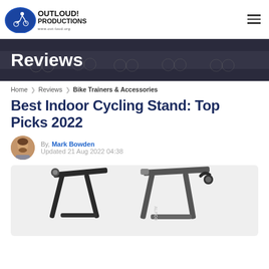[Figure (logo): Out Loud Productions logo with cyclist illustration and text OUTLOUD! PRODUCTIONS www.out-loud.org]
Reviews
Home > Reviews > Bike Trainers & Accessories
Best Indoor Cycling Stand: Top Picks 2022
By, Mark Bowden
Updated 21 Aug 2022 04:38
[Figure (photo): Two black indoor cycling bike stands/trainers on a light grey background]